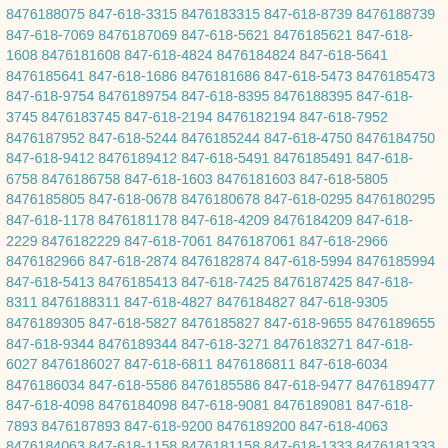8476188075 847-618-3315 8476183315 847-618-8739 8476188739 847-618-7069 8476187069 847-618-5621 8476185621 847-618-1608 8476181608 847-618-4824 8476184824 847-618-5641 8476185641 847-618-1686 8476181686 847-618-5473 8476185473 847-618-9754 8476189754 847-618-8395 8476188395 847-618-3745 8476183745 847-618-2194 8476182194 847-618-7952 8476187952 847-618-5244 8476185244 847-618-4750 8476184750 847-618-9412 8476189412 847-618-5491 8476185491 847-618-6758 8476186758 847-618-1603 8476181603 847-618-5805 8476185805 847-618-0678 8476180678 847-618-0295 8476180295 847-618-1178 8476181178 847-618-4209 8476184209 847-618-2229 8476182229 847-618-7061 8476187061 847-618-2966 8476182966 847-618-2874 8476182874 847-618-5994 8476185994 847-618-5413 8476185413 847-618-7425 8476187425 847-618-8311 8476188311 847-618-4827 8476184827 847-618-9305 8476189305 847-618-5827 8476185827 847-618-9655 8476189655 847-618-9344 8476189344 847-618-3271 8476183271 847-618-6027 8476186027 847-618-6811 8476186811 847-618-6034 8476186034 847-618-5586 8476185586 847-618-9477 8476189477 847-618-4098 8476184098 847-618-9081 8476189081 847-618-7893 8476187893 847-618-9200 8476189200 847-618-4063 8476184063 847-618-1158 8476181158 847-618-1333 8476181333 847-618-7063 8476187063 847-618-1139 8476181139 847-618-7703 8476187703 847-618-5337 8476185337 847-618-7508 8476187508 847-618-4028 8476184028 847-618-6001 8476186001 847-618-9169 8476189169 847-618-2383 8476182383 847-618-3978 8476183978 847-618-7551 8476187551 847-618-0169 8476180169 847-618-0722 8476180722 847-618-2483